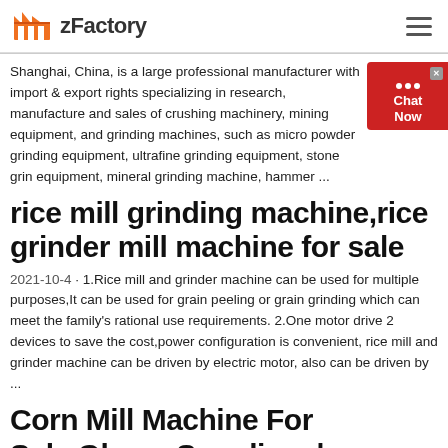zFactory
Shanghai, China, is a large professional manufacturer with import & export rights specializing in research, manufacture and sales of crushing machinery, mining equipment, and grinding machines, such as micro powder grinding equipment, ultrafine grinding equipment, stone grin equipment, mineral grinding machine, hammer ...
rice mill grinding machine,rice grinder mill machine for sale
2021-10-4 · 1.Rice mill and grinder machine can be used for multiple purposes,It can be used for grain peeling or grain grinding which can meet the family's rational use requirements. 2.One motor drive 2 devices to save the cost,power configuration is convenient, rice mill and grinder machine can be driven by electric motor, also can be driven by ...
Corn Mill Machine For Sale Ghana Suppliers | corn